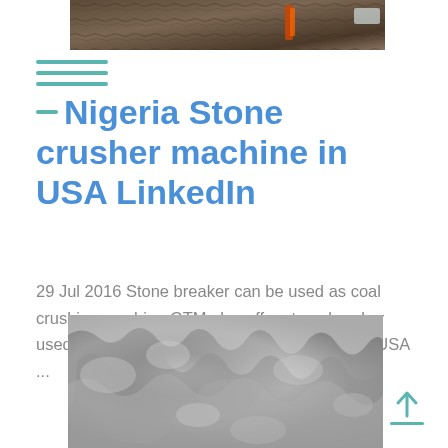[Figure (photo): Partial view of industrial stone crusher machine at top of page]
Nigeria Stone crusher machine in USA LinkedIn
29 Jul 2016 Stone breaker can be used as coal crushing machine GTM also offer stone breaker used as clinker breaker in cement company in USA ...
[Figure (photo): Close-up black and white photo of crushed stone or gravel surface texture]